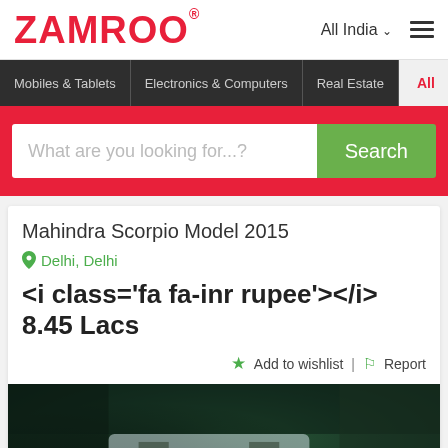ZAMROO
All India
Mobiles & Tablets
Electronics & Computers
Real Estate
All
What are you looking for...?
Mahindra Scorpio Model 2015
Delhi, Delhi
<i class='fa fa-inr rupee'></i> 8.45 Lacs
Add to wishlist | Report
[Figure (photo): Pixelated photo of a Mahindra Scorpio car, dark greenish background with white/light colored vehicle]